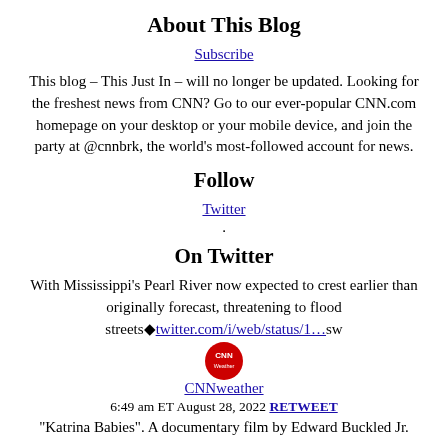About This Blog
Subscribe
This blog – This Just In – will no longer be updated. Looking for the freshest news from CNN? Go to our ever-popular CNN.com homepage on your desktop or your mobile device, and join the party at @cnnbrk, the world's most-followed account for news.
Follow
Twitter
.
On Twitter
With Mississippi's Pearl River now expected to crest earlier than originally forecast, threatening to flood streets◆twitter.com/i/web/status/1…sw
[Figure (logo): CNN Weather circular logo with red background and white CNN text]
CNNweather
6:49 am ET August 28, 2022 RETWEET
"Katrina Babies". A documentary film by Edward Buckled Jr.